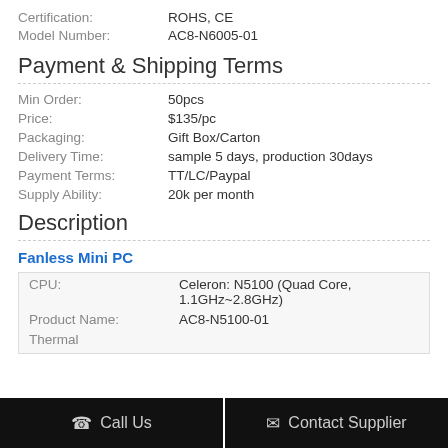Certification: ROHS, CE
Model Number: AC8-N6005-01
Payment & Shipping Terms
| Field | Value |
| --- | --- |
| Min Order: | 50pcs |
| Price: | $135/pc |
| Packaging: | Gift Box/Carton |
| Delivery Time: | sample 5 days, production 30days |
| Payment Terms: | TT/LC/Paypal |
| Supply Ability: | 20k per month |
Description
Fanless Mini PC
| Field | Value |
| --- | --- |
| CPU: | Celeron: N5100 (Quad Core, 1.1GHz~2.8GHz) |
| Product Name: | AC8-N5100-01 |
| Thermal |  |
Call Us
Contact Supplier